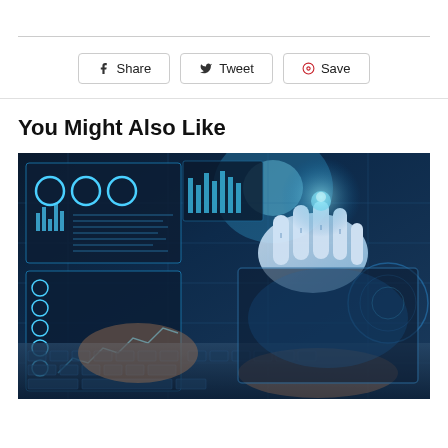[Figure (other): Social share buttons: Share (Facebook), Tweet (Twitter), Save (Pinterest)]
You Might Also Like
[Figure (photo): AI technology photo: robotic hand pointing at digital holographic interface overlaid on human hands typing on laptop keyboard, blue-toned futuristic UI elements]